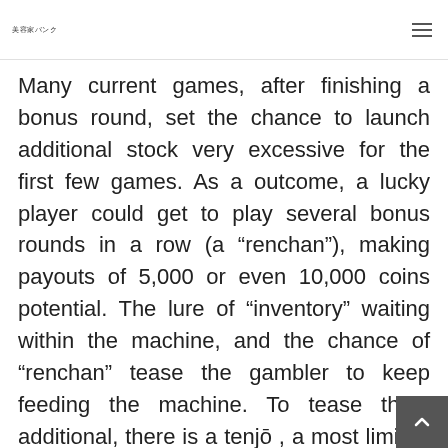美容家バンク
Many current games, after finishing a bonus round, set the chance to launch additional stock very excessive for the first few games. As a outcome, a lucky player could get to play several bonus rounds in a row (a “renchan”), making payouts of 5,000 or even 10,000 coins potential. The lure of “inventory” waiting within the machine, and the chance of “renchan” tease the gambler to keep feeding the machine. To tease them additional, there is a tenjō , a most limi on the number of games between “sto